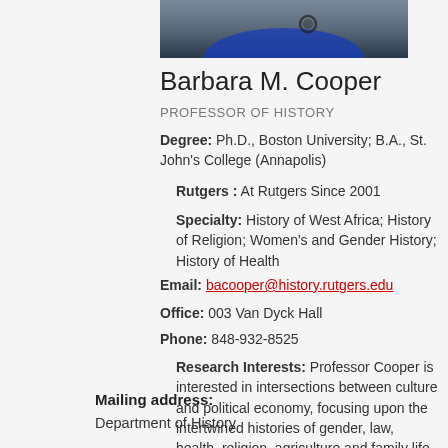[Figure (photo): Partial photo of Barbara M. Cooper, showing shoulders and upper chest area with blue top and dark accessories]
Barbara M. Cooper
PROFESSOR OF HISTORY
Degree: Ph.D., Boston University; B.A., St. John's College (Annapolis)
Rutgers : At Rutgers Since 2001
Specialty: History of West Africa; History of Religion; Women's and Gender History; History of Health
Email: bacooper@history.rutgers.edu
Office: 003 Van Dyck Hall
Phone: 848-932-8525
Research Interests: Professor Cooper is interested in intersections between culture and political economy, focusing upon the intertwined histories of gender, law, health, religion, agriculture and family life.
Mailing address:
Department of History